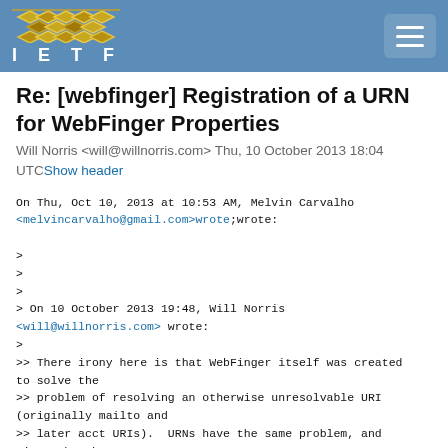IETF
Re: [webfinger] Registration of a URN for WebFinger Properties
Will Norris <will@willnorris.com> Thu, 10 October 2013 18:04 UTCShow header
On Thu, Oct 10, 2013 at 10:53 AM, Melvin Carvalho <melvincarvalho@gmail.com>wrote;wrote:
>
>
>
> On 10 October 2013 19:48, Will Norris <will@willnorris.com> wrote:
>
>> There irony here is that WebFinger itself was created to solve the
>> problem of resolving an otherwise unresolvable URI (originally mailto and
>> later acct URIs).  URNs have the same problem, and since they have no
>> well-defined host, you can't even use WebFinger to
>> resolve them.  I know